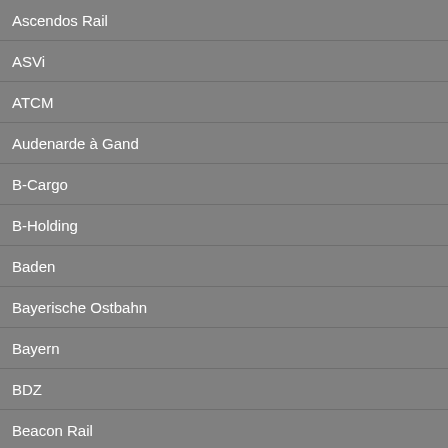Ascendos Rail +
ASVi +
ATCM +
Audenarde à Gand +
B-Cargo +
B-Holding +
Baden +
Bayerische Ostbahn +
Bayern +
BDZ +
Beacon Rail +
Birkenhead, Lancashire and Cheshire Junction Railway +
Bombardier- +
Bruxelles-Ixelles-Boendael +
Bruxelles-Tervueren +
Caernarvonshire Railway +
Exportations Prov di Verona e Vice Tram a Vapo delle
Exportations Prov di Verona e Vice Tram a Vapo delle
Exportations Prov di Verona e Vice Tram a Vapo delle